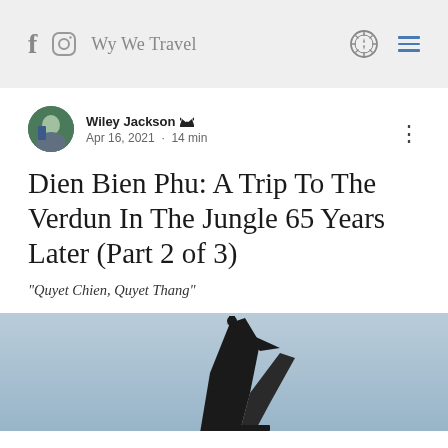f  [instagram icon]  Wy We Travel  [compass icon]  [menu icon]
Wiley Jackson [crown] · Apr 16, 2021 · 14 min
Dien Bien Phu: A Trip To The Verdun In The Jungle 65 Years Later (Part 2 of 3)
"Quyet Chien, Quyet Thang"
[Figure (photo): Dark metallic sculpture against a light blue sky, appears to be a monument at Dien Bien Phu]